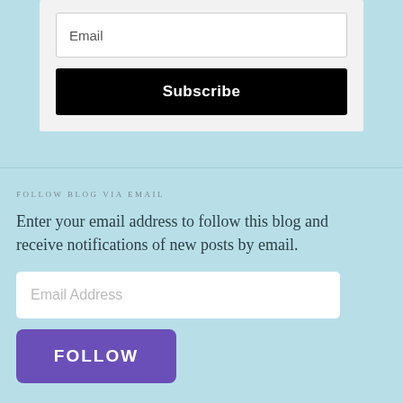Email
Subscribe
FOLLOW BLOG VIA EMAIL
Enter your email address to follow this blog and receive notifications of new posts by email.
Email Address
FOLLOW